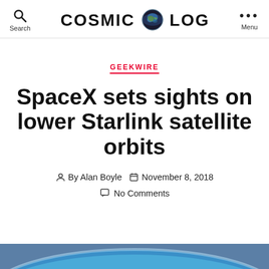COSMIC LOG
GEEKWIRE
SpaceX sets sights on lower Starlink satellite orbits
By Alan Boyle  November 8, 2018
No Comments
[Figure (photo): Earth from space, partial globe visible at the bottom of the page]